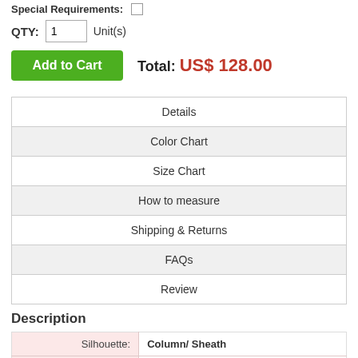Special Requirements: ☐
QTY: 1  Unit(s)
Add to Cart   Total: US$ 128.00
Details
Color Chart
Size Chart
How to measure
Shipping & Returns
FAQs
Review
Description
|  |  |
| --- | --- |
| Silhouette: | Column/ Sheath |
| Neckline: | Halter, Sweetheart |
| Sleeve Length: | Sleeveless |